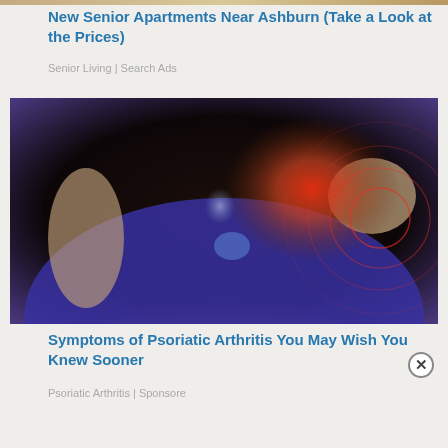[Figure (photo): Partial view of a tan/sandy landscape image, cropped at top]
New Senior Apartments Near Ashburn (Take a Look at the Prices)
Senior Living | Search Ads
[Figure (photo): Medical illustration showing hip joint pain for psoriatic arthritis, overlaid on person wearing blue leggings, with red inflammation highlight and concentric ripple rings indicating pain]
Symptoms of Psoriatic Arthritis You May Wish You Knew Sooner
Psoriatic Arthritis | Sponsore